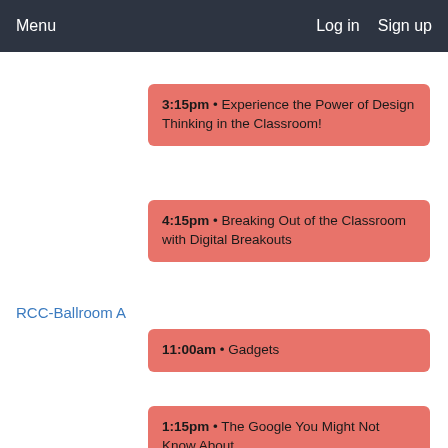Menu    Log in    Sign up
3:15pm • Experience the Power of Design Thinking in the Classroom!
4:15pm • Breaking Out of the Classroom with Digital Breakouts
RCC-Ballroom A
11:00am • Gadgets
1:15pm • The Google You Might Not Know About